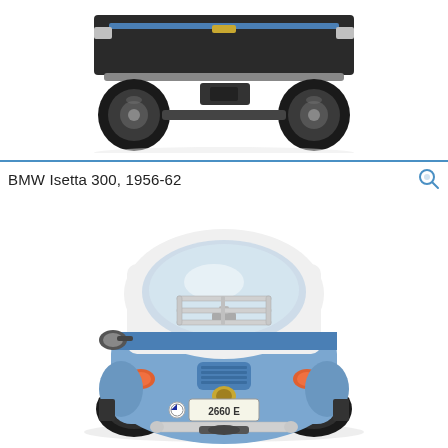[Figure (photo): Rear view of a dark-colored car undercarriage/chassis, cropped, showing wheels, axle, and underbody on white background]
BMW Isetta 300, 1956-62
[Figure (photo): Rear three-quarter view of a blue and white BMW Isetta 300 microcar with chrome luggage rack, license plate reading 2660 E, chrome bumper, round tail lights, on white background]